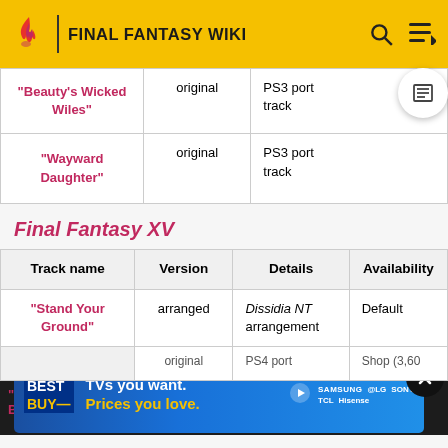FINAL FANTASY WIKI
| "Beauty's Wicked Wiles" | original | PS3 port track |
| "Wayward Daughter" | original | PS3 port track |
Final Fantasy XV
| Track name | Version | Details | Availability |
| --- | --- | --- | --- |
| "Stand Your Ground" | arranged | Dissidia NT arrangement | Default |
|  | original | PS4 port | Shop (3,60... |
| "V... Black" |  | arrangement |  |
[Figure (infographic): Best Buy advertisement banner: 'TVs you want. Prices you love.' with Samsung, LG, Sony, TCL, Hisense brands]